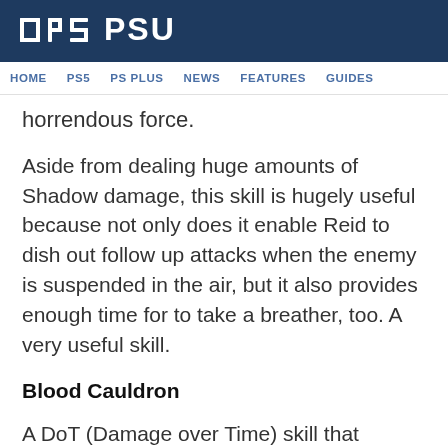PSU
HOME   PS5   PS PLUS   NEWS   FEATURES   GUIDES
horrendous force.
Aside from dealing huge amounts of Shadow damage, this skill is hugely useful because not only does it enable Reid to dish out follow up attacks when the enemy is suspended in the air, but it also provides enough time for to take a breather, too. A very useful skill.
Blood Cauldron
A DoT (Damage over Time) skill that finishes off with a massive explosion, Blood Cauldron is a natural companion to your physical damage combinations as